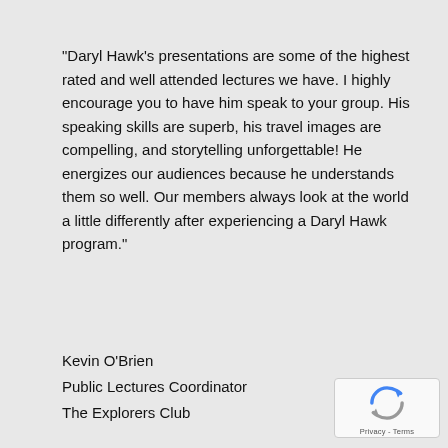“Daryl Hawk’s presentations are some of the highest rated and well attended lectures we have. I highly encourage you to have him speak to your group. His speaking skills are superb, his travel images are compelling, and storytelling unforgettable! He energizes our audiences because he understands them so well. Our members always look at the world a little differently after experiencing a Daryl Hawk program.”
Kevin O’Brien
Public Lectures Coordinator
The Explorers Club
“Daryl Hawk has been presenting at the AMC for almost 10 years. He has a large following that comes to see his shows and that has increased our audience numbers considerably. His audio visual presentations are always fresh and filled with